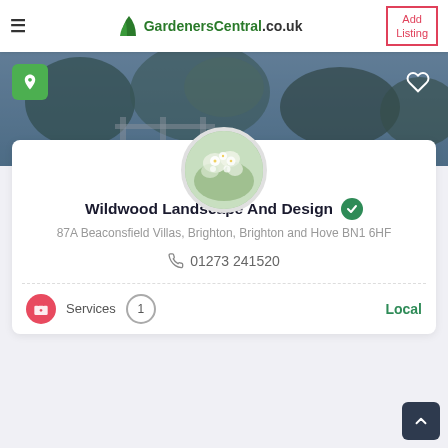GardenersCentral.co.uk | Add Listing
[Figure (photo): Hero banner image of a garden with greenery and trees, overlaid with a semi-transparent dark blue gradient. Contains a green location pin button on the top-left and a heart icon on the top-right.]
[Figure (photo): Circular profile photo of white flowers and green foliage.]
Wildwood Landscape And Design
87A Beaconsfield Villas, Brighton, Brighton and Hove BN1 6HF
01273 241520
Services  1  Local